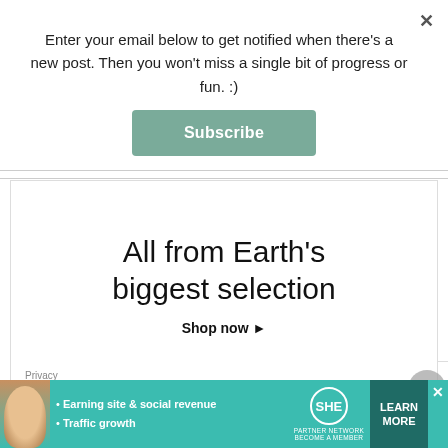Enter your email below to get notified when there’s a new post. Then you won’t miss a single bit of progress or fun. :)
Subscribe
[Figure (infographic): Amazon advertisement: 'All from Earth’s biggest selection. Shop now ►' with Privacy label]
REFERRAL LINKS
[Figure (photo): Vegetables and produce photo for referral link]
[Figure (infographic): SHE Partner Network advertisement bar: 'Earning site & social revenue, Traffic growth. LEARN MORE']